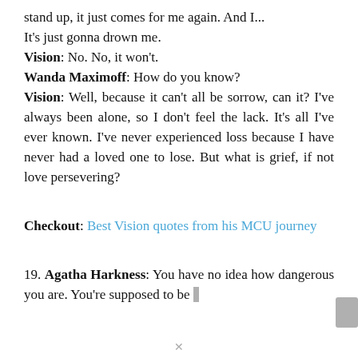stand up, it just comes for me again. And I... It's just gonna drown me.
Vision: No. No, it won't.
Wanda Maximoff: How do you know?
Vision: Well, because it can't all be sorrow, can it? I've always been alone, so I don't feel the lack. It's all I've ever known. I've never experienced loss because I have never had a loved one to lose. But what is grief, if not love persevering?
Checkout: Best Vision quotes from his MCU journey
19. Agatha Harkness: You have no idea how dangerous you are. You're supposed to be a...